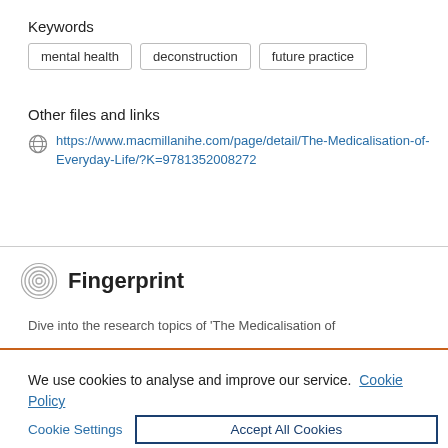Keywords
mental health
deconstruction
future practice
Other files and links
https://www.macmillanihe.com/page/detail/The-Medicalisation-of-Everyday-Life/?K=9781352008272
Fingerprint
Dive into the research topics of 'The Medicalisation of
We use cookies to analyse and improve our service. Cookie Policy